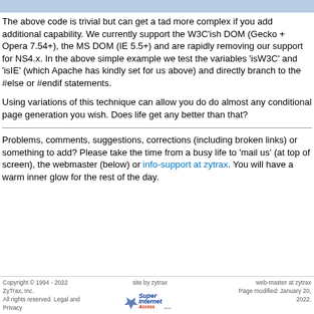The above code is trivial but can get a tad more complex if you add additional capability. We currently support the W3C'ish DOM (Gecko + Opera 7.54+), the MS DOM (IE 5.5+) and are rapidly removing our support for NS4.x. In the above simple example we test the variables 'isW3C' and 'isIE' (which Apache has kindly set for us above) and directly branch to the #else or #endif statements.
Using variations of this technique can allow you do do almost any conditional page generation you wish. Does life get any better than that?
Problems, comments, suggestions, corrections (including broken links) or something to add? Please take the time from a busy life to 'mail us' (at top of screen), the webmaster (below) or info-support at zytrax. You will have a warm inner glow for the rest of the day.
Copyright © 1994 - 2022 ZyTrax, Inc. All rights reserved. Legal and Privacy | site by zytrax | web-master at zytrax Page modified: January 20, 2022.